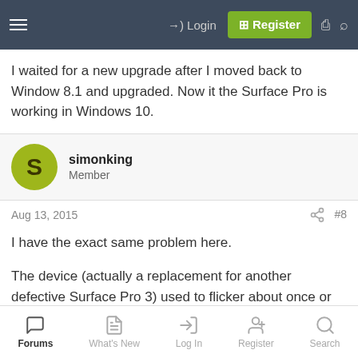Login | Register
I waited for a new upgrade after I moved back to Window 8.1 and upgraded. Now it the Surface Pro is working in Windows 10.
simonking
Member
Aug 13, 2015  #8
I have the exact same problem here.

The device (actually a replacement for another defective Surface Pro 3) used to flicker about once or twice every day with Windows 8.1, that I noticed at least.
Forums | What's New | Log In | Register | Search